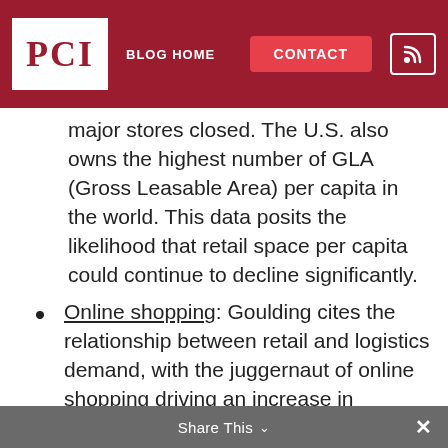PCI | BLOG HOME | CONTACT
major stores closed. The U.S. also owns the highest number of GLA (Gross Leasable Area) per capita in the world. This data posits the likelihood that retail space per capita could continue to decline significantly.
Online shopping: Goulding cites the relationship between retail and logistics demand, with the juggernaut of online shopping driving an increase in demand for warehouse space. That trend can be expected to continue – if not accelerate.
Transportation: Electric vehicle penetration forecasts from highly respected institutions vary by nearly five times for the next ten years.
Share This ×